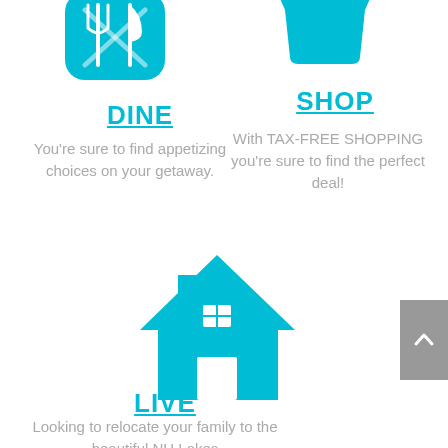[Figure (illustration): Cyan fork and knife crossed icon (dining)]
DINE
You're sure to find appetizing choices on your getaway.
[Figure (illustration): Cyan shopping basket icon]
SHOP
With TAX-FREE SHOPPING you're sure to find the perfect deal!
[Figure (illustration): Cyan house icon]
LIVE
Looking to relocate your family to the beautiful NH Lakes